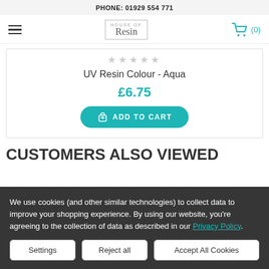PHONE: 01929 554 771
[Figure (logo): House of Resin logo in a bordered box with hamburger menu and shopping cart icon showing (0)]
UV Resin Colour - Aqua
£6.75
ADD TO CART
CUSTOMERS ALSO VIEWED
We use cookies (and other similar technologies) to collect data to improve your shopping experience. By using our website, you're agreeing to the collection of data as described in our Privacy Policy.
Settings | Reject all | Accept All Cookies